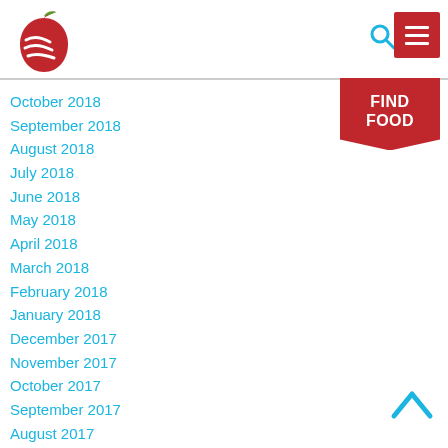[Figure (logo): Red apple logo with white stripe lines]
[Figure (illustration): Blue search magnifying glass icon]
[Figure (illustration): Red menu hamburger button]
[Figure (illustration): Red banner button with FIND FOOD text]
October 2018
September 2018
August 2018
July 2018
June 2018
May 2018
April 2018
March 2018
February 2018
January 2018
December 2017
November 2017
October 2017
September 2017
August 2017
[Figure (illustration): Blue upward chevron arrow back-to-top button]